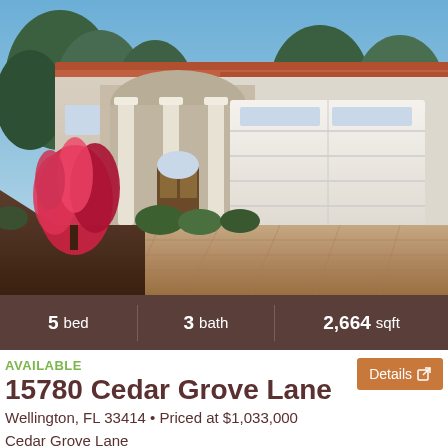[Figure (photo): Exterior photo of a large single-family home in Florida with arched entryway, white columns, two-car garage, red tropical plants, and a paver brick driveway.]
5 bed  |  3 bath  |  2,664 sqft
AVAILABLE
15780 Cedar Grove Lane
Wellington, FL 33414 • Priced at $1,033,000
Details
Cedar Grove Lane